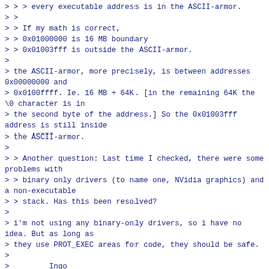> > > every executable address is in the ASCII-armor.
> >
> > If my math is correct,
> > 0x01000000 is 16 MB boundary
> > 0x01003fff is outside the ASCII-armor.
>
> the ASCII-armor, more precisely, is between addresses 0x00000000 and
> 0x0100ffff. Ie. 16 MB + 64K. [in the remaining 64K the \0 character is in
> the second byte of the address.] So the 0x01003fff address is still inside
> the ASCII-armor.
>
> > Another question: Last time I checked, there were some problems with
> > binary only drivers (to name one, NVidia graphics) and a non-executable
> > stack. Has this been resolved?
>
> i'm not using any binary-only drivers, so i have no idea. But as long as
> they use PROT_EXEC areas for code, they should be safe.
>
>         Ingo
>
> -
> To unsubscribe from this list: send the line "unsubscribe linux-kernel" in